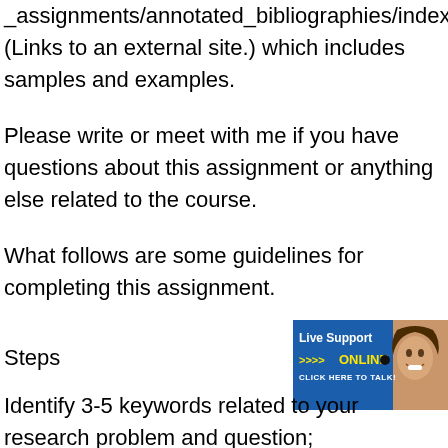_assignments/annotated_bibliographies/index.html (Links to an external site.) which includes samples and examples.
Please write or meet with me if you have questions about this assignment or anything else related to the course.
What follows are some guidelines for completing this assignment.
Steps
[Figure (other): Live Support ONLINE CLICK HERE TO TALK! advertisement banner with a smiling woman]
Identify 3-5 keywords related to your research problem and question;